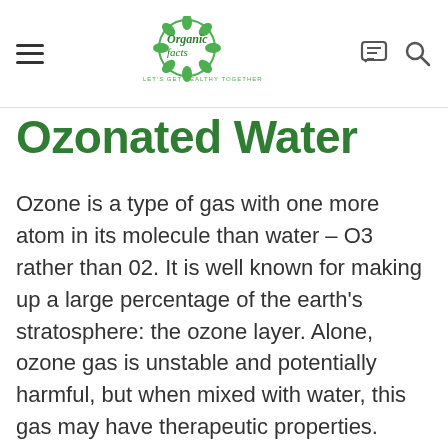Organic Facts — LET'S GET HEALTHY TOGETHER
Ozonated Water
Ozone is a type of gas with one more atom in its molecule than water – O3 rather than 02. It is well known for making up a large percentage of the earth's stratosphere: the ozone layer. Alone, ozone gas is unstable and potentially harmful, but when mixed with water, this gas may have therapeutic properties.